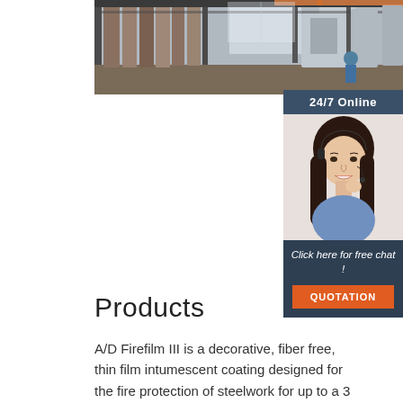[Figure (photo): Warehouse interior showing metal/steel frames hanging on racks and industrial equipment in the background]
[Figure (infographic): 24/7 Online chat widget showing a woman with headset and buttons: 'Click here for free chat!' and 'QUOTATION']
Products
A/D Firefilm III is a decorative, fiber free, thin film intumescent coating designed for the fire protection of steelwork for up to a 3 hour fire